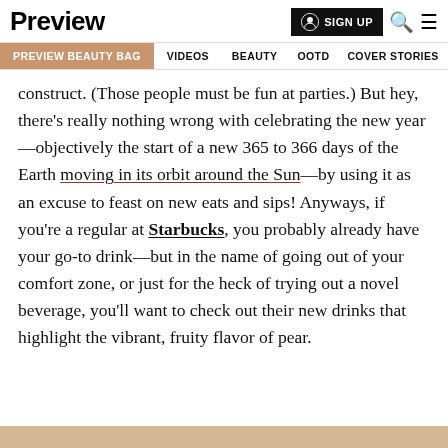Preview | SIGN UP
PREVIEW BEAUTY BAG  VIDEOS  BEAUTY  OOTD  COVER STORIES
construct. (Those people must be fun at parties.) But hey, there's really nothing wrong with celebrating the new year—objectively the start of a new 365 to 366 days of the Earth moving in its orbit around the Sun—by using it as an excuse to feast on new eats and sips! Anyways, if you're a regular at Starbucks, you probably already have your go-to drink—but in the name of going out of your comfort zone, or just for the heck of trying out a novel beverage, you'll want to check out their new drinks that highlight the vibrant, fruity flavor of pear.